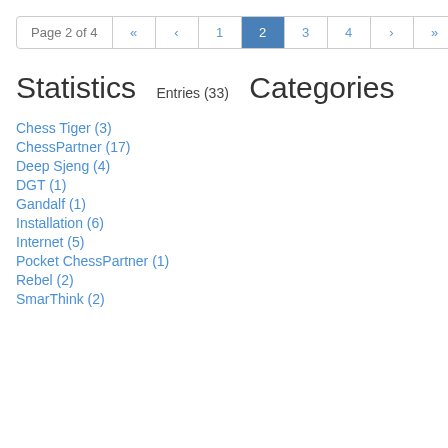Page 2 of 4  «  ‹  1  2  3  4  ›  »
Statistics
Entries (33)
Categories
Chess Tiger (3)
ChessPartner (17)
Deep Sjeng (4)
DGT (1)
Gandalf (1)
Installation (6)
Internet (5)
Pocket ChessPartner (1)
Rebel (2)
SmarThink (2)